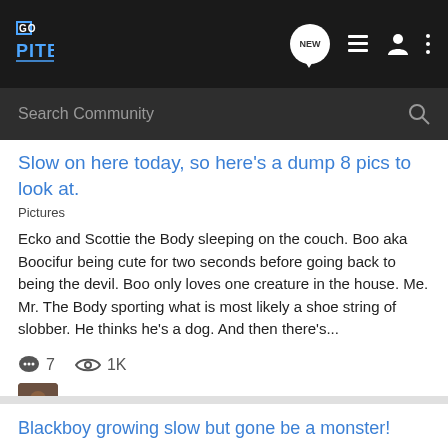GO PITBULL
Search Community
Slow on here today, so here's a dump 8 pics to look at.
Pictures
Ecko and Scottie the Body sleeping on the couch. Boo aka Boocifur being cute for two seconds before going back to being the devil. Boo only loves one creature in the house. Me. Mr. The Body sporting what is most likely a shoe string of slobber. He thinks he's a dog. And then there's...
7  1K
EckoMac · Feb 26, 2019
dump  pics  slow  today
Blackboy growing slow but gone be a monster!